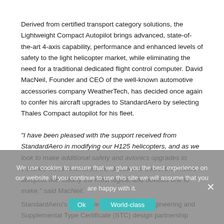Derived from certified transport category solutions, the Lightweight Compact Autopilot brings advanced, state-of-the-art 4-axis capability, performance and enhanced levels of safety to the light helicopter market, while eliminating the need for a traditional dedicated flight control computer. David MacNeil, Founder and CEO of the well-known automotive accessories company WeatherTech, has decided once again to confer his aircraft upgrades to StandardAero by selecting Thales Compact autopilot for his fleet.
“I have been pleased with the support received from StandardAero in modifying our H125 helicopters, and as we look to make additional safety and avionics upgrades to enhance these machines, the decision to select the Thales autopilot was clearly the most logical and obvious one to make,” said MacNeil.
StandardAero’s and Thales’ World-class engineering and Supplemental Type Certificate (STC) design partnership